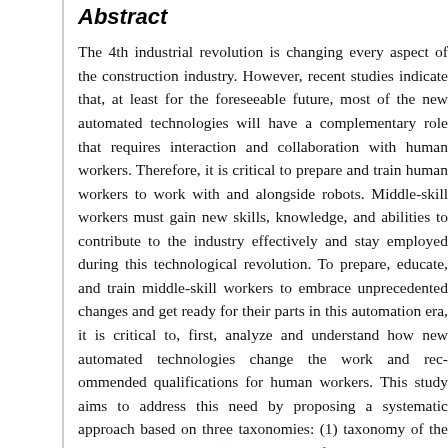Abstract
The 4th industrial revolution is changing every aspect of the construction industry. However, recent studies indicate that, at least for the foreseeable future, most of the new automated technologies will have a complementary role that requires interaction and collaboration with human workers. Therefore, it is critical to prepare and train human workers to work with and alongside robots. Middle-skill workers must gain new skills, knowledge, and abilities to contribute to the industry effectively and stay employed during this technological revolution. To prepare, educate, and train middle-skill workers to embrace unprecedented changes and get ready for their parts in this automation era, it is critical to, first, analyze and understand how new automated technologies change the work and required qualifications for human workers. This study aims to address this need by proposing a systematic approach based on three taxonomies: (1) taxonomy of the work and its tasks, (2) taxonomy of the robot and its functionalities, and (3) taxonomy of the worker's qualifications. Using these taxonomies, the interactions between the functionalities of a robot, the work, and human workers' requirements are mapped to systematically